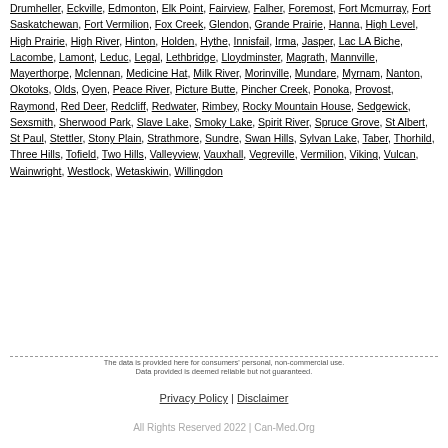Drumheller, Eckville, Edmonton, Elk Point, Fairview, Falher, Foremost, Fort Mcmurray, Fort Saskatchewan, Fort Vermilion, Fox Creek, Glendon, Grande Prairie, Hanna, High Level, High Prairie, High River, Hinton, Holden, Hythe, Innisfail, Irma, Jasper, Lac LA Biche, Lacombe, Lamont, Leduc, Legal, Lethbridge, Lloydminster, Magrath, Mannville, Mayerthorpe, Mclennan, Medicine Hat, Milk River, Morinville, Mundare, Myrnam, Nanton, Okotoks, Olds, Oyen, Peace River, Picture Butte, Pincher Creek, Ponoka, Provost, Raymond, Red Deer, Redcliff, Redwater, Rimbey, Rocky Mountain House, Sedgewick, Sexsmith, Sherwood Park, Slave Lake, Smoky Lake, Spirit River, Spruce Grove, St Albert, St Paul, Stettler, Stony Plain, Strathmore, Sundre, Swan Hills, Sylvan Lake, Taber, Thorhild, Three Hills, Tofield, Two Hills, Valleyview, Vauxhall, Vegreville, Vermilion, Viking, Vulcan, Wainwright, Westlock, Wetaskiwin, Willingdon
The data is provided here for consumers' personal, non-commercial use. Data provided is deemed reliable but not guaranteed.
Privacy Policy | Disclaimer
All Rights Reserved 2022 | Can-Med.Org